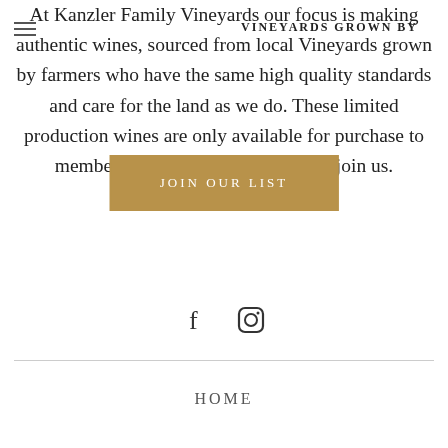VINEYARDS GROWN BY
At Kanzler Family Vineyards our focus is making authentic wines, sourced from local Vineyards grown by farmers who have the same high quality standards and care for the land as we do. These limited production wines are only available for purchase to members of our mailing list. Please join us.
JOIN OUR LIST
[Figure (illustration): Social media icons: Facebook (f) and Instagram (camera) icons]
HOME